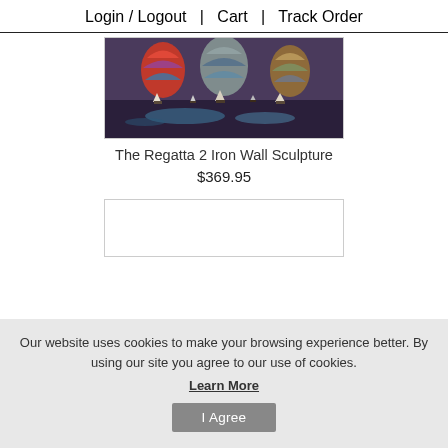Login / Logout  |  Cart  |  Track Order
[Figure (photo): Colorful painting of sailboats on water with large colorful hot air balloons above, oil or metal wall art style]
The Regatta 2 Iron Wall Sculpture
$369.95
Our website uses cookies to make your browsing experience better. By using our site you agree to our use of cookies.
Learn More
I Agree